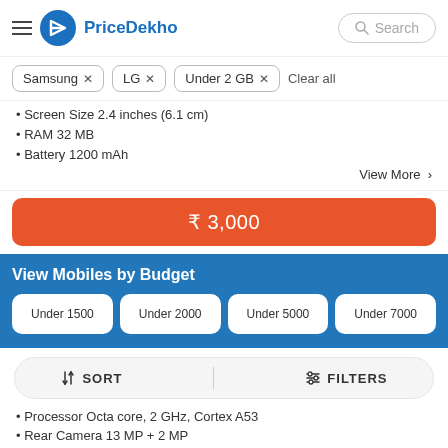PriceDekho — Search
Samsung ×
LG ×
Under 2 GB ×
Clear all
Screen Size 2.4 inches (6.1 cm)
RAM 32 MB
Battery 1200 mAh
View More >
₹ 3,000
View Mobiles by Budget
Under 1500
Under 2000
Under 5000
Under 7000
↓↑ SORT
⫶ FILTERS
Processor Octa core, 2 GHz, Cortex A53
Rear Camera 13 MP + 2 MP
Screen Size 6.2 inches (15.75 cm)